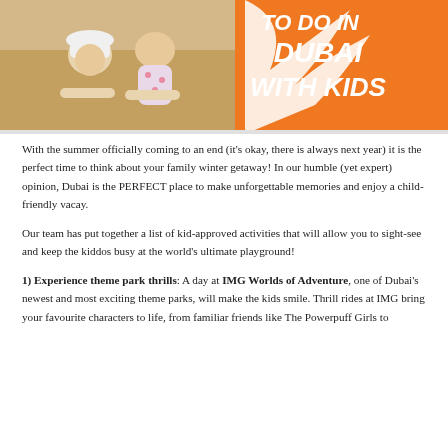[Figure (photo): Two young children smiling and lying on sand dunes, with an orange banner on the right showing bold white italic text 'TO DO IN DUBAI WITH KIDS' and a decorative white bird/swoosh graphic.]
With the summer officially coming to an end (it's okay, there is always next year) it is the perfect time to think about your family winter getaway! In our humble (yet expert) opinion, Dubai is the PERFECT place to make unforgettable memories and enjoy a child-friendly vacay.
Our team has put together a list of kid-approved activities that will allow you to sight-see and keep the kiddos busy at the world's ultimate playground!
1) Experience theme park thrills: A day at IMG Worlds of Adventure, one of Dubai's newest and most exciting theme parks, will make the kids smile. Thrill rides at IMG bring your favourite characters to life, from familiar friends like The Powerpuff Girls to